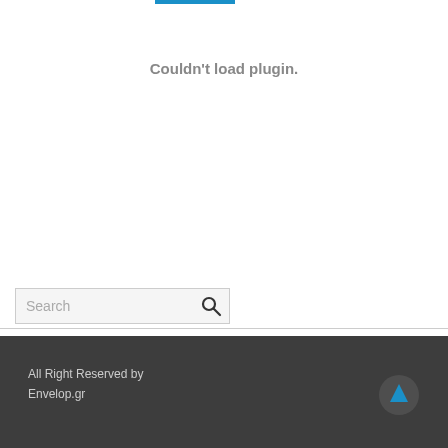[Figure (screenshot): Blue horizontal bar at top of page, partially visible]
Couldn't load plugin.
[Figure (screenshot): Search bar with placeholder text 'Search' and a magnifying glass icon]
⇒ Navigate
All Right Reserved by Envelop.gr